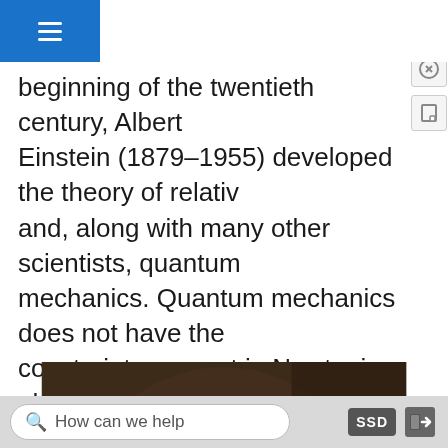aints define the realm of Newtonian mechanics. At the beginning of the twentieth century, Albert Einstein (1879–1955) developed the theory of relativity and, along with many other scientists, quantum mechanics. Quantum mechanics does not have the constraints present in Newtonian physics. All of the situations we consider in this chapter, and all those preceding the introduction of relativity in Relativity, are in the realm of Newtonian physics.
[Figure (photo): Portrait painting of Isaac Newton with long grey/white curly wig, wearing dark clothing, set against a dark brown background.]